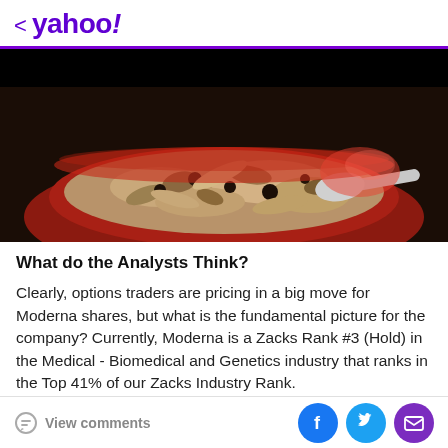< yahoo!
[Figure (photo): Photo of a red bowl filled with granola, oats, nuts, and dried fruits with a spoon, dark moody background]
What do the Analysts Think?
Clearly, options traders are pricing in a big move for Moderna shares, but what is the fundamental picture for the company? Currently, Moderna is a Zacks Rank #3 (Hold) in the Medical - Biomedical and Genetics industry that ranks in the Top 41% of our Zacks Industry Rank.
View comments